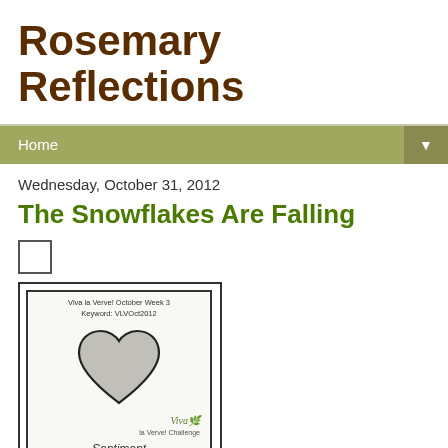Rosemary Reflections
Home
Wednesday, October 31, 2012
The Snowflakes Are Falling
[Figure (illustration): A card sketch template showing a heart shape in the center with text 'Viva la Verve! October Week 3 Keyword: VLVOct2012', a Viva logo, and 'Sentiment' text below the heart. Caption reads 'Sketch by Laurie Schmidlin'.]